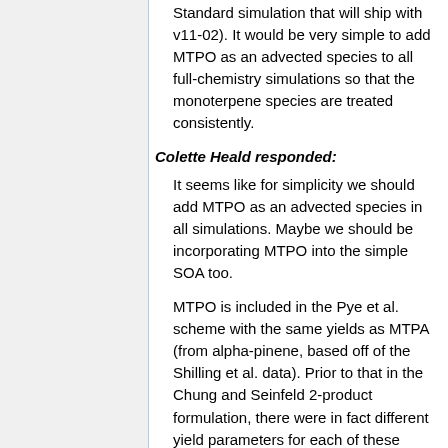Standard simulation that will ship with v11-02). It would be very simple to add MTPO as an advected species to all full-chemistry simulations so that the monoterpene species are treated consistently.
Colette Heald responded:
It seems like for simplicity we should add MTPO as an advected species in all simulations. Maybe we should be incorporating MTPO into the simple SOA too.
MTPO is included in the Pye et al. scheme with the same yields as MTPA (from alpha-pinene, based off of the Shilling et al. data). Prior to that in the Chung and Seinfeld 2-product formulation, there were in fact different yield parameters for each of these categories. This was based on the original lab work by